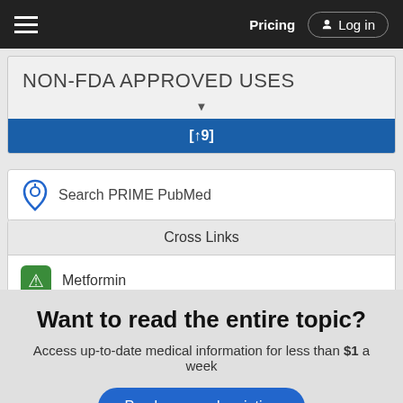Pricing  Log in
NON-FDA APPROVED USES
[↑9]
Search PRIME PubMed
Cross Links
Metformin
Want to read the entire topic?
Access up-to-date medical information for less than $1 a week
Purchase a subscription
I'm already a subscriber
Browse sample topics